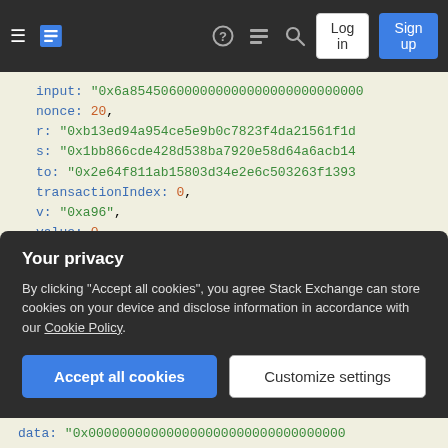[Figure (screenshot): Stack Exchange navigation bar with hamburger menu, logo, icons (help, chat, search), Log in and Sign up buttons on dark background]
input: "0x6a854506000000000000000000000000"
nonce: 20,
r: "0xb13ed94a954ce5e9b0c7823f4da21561f1d"
s: "0x1bb866cde428d538ba7920e58d64a6acb14"
to: "0x2e64f811ab15803d34e2e6c503263f1393"
transactionIndex: 0,
v: "0xa96",
value: 0
}

> web3.eth.getTransactionReceipt('0xfd726f1
{
  blockHash: "0xf0e7c13f811d06874a0191da3b1"
  blockNumber: 21,
Your privacy
By clicking "Accept all cookies", you agree Stack Exchange can store cookies on your device and disclose information in accordance with our Cookie Policy.
Accept all cookies   Customize settings
data: "0x0000000000000000000000000000000000